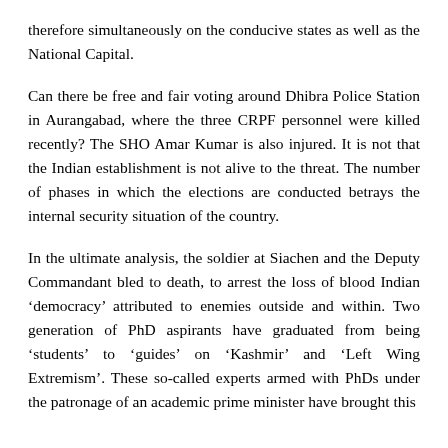therefore simultaneously on the conducive states as well as the National Capital.
Can there be free and fair voting around Dhibra Police Station in Aurangabad, where the three CRPF personnel were killed recently? The SHO Amar Kumar is also injured. It is not that the Indian establishment is not alive to the threat. The number of phases in which the elections are conducted betrays the internal security situation of the country.
In the ultimate analysis, the soldier at Siachen and the Deputy Commandant bled to death, to arrest the loss of blood Indian 'democracy' attributed to enemies outside and within. Two generation of PhD aspirants have graduated from being 'students' to 'guides' on 'Kashmir' and 'Left Wing Extremism'. These so-called experts armed with PhDs under the patronage of an academic prime minister have brought this